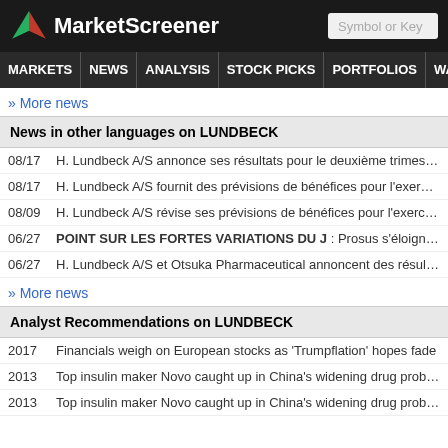MarketScreener
MARKETS NEWS ANALYSIS STOCK PICKS PORTFOLIOS WATCHLI
» More news
News in other languages on LUNDBECK
08/17  H. Lundbeck A/S annonce ses résultats pour le deuxième trimestre et le se
08/17  H. Lundbeck A/S fournit des prévisions de bénéfices pour l'exercice 2022
08/09  H. Lundbeck A/S révise ses prévisions de bénéfices pour l'exercice 2022
06/27  POINT SUR LES FORTES VARIATIONS DU J : Prosus s'éloigne de Tenc
06/27  H. Lundbeck A/S et Otsuka Pharmaceutical annoncent des résultats positi
» More news
Analyst Recommendations on LUNDBECK
2017  Financials weigh on European stocks as 'Trumpflation' hopes fade
2013  Top insulin maker Novo caught up in China's widening drug probes
2013  Top insulin maker Novo caught up in China's widening drug probes